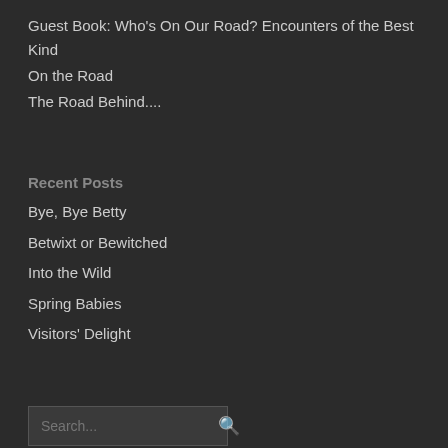Guest Book: Who's On Our Road? Encounters of the Best Kind
On the Road
The Road Behind....
Recent Posts
Bye, Bye Betty
Betwixt or Bewitched
Into the Wild
Spring Babies
Visitors' Delight
Archives